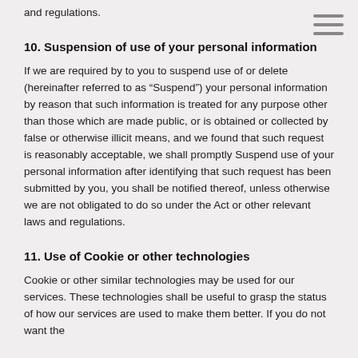and regulations.
10. Suspension of use of your personal information
If we are required by to you to suspend use of or delete (hereinafter referred to as “Suspend”) your personal information by reason that such information is treated for any purpose other than those which are made public, or is obtained or collected by false or otherwise illicit means, and we found that such request is reasonably acceptable, we shall promptly Suspend use of your personal information after identifying that such request has been submitted by you, you shall be notified thereof, unless otherwise we are not obligated to do so under the Act or other relevant laws and regulations.
11. Use of Cookie or other technologies
Cookie or other similar technologies may be used for our services. These technologies shall be useful to grasp the status of how our services are used to make them better. If you do not want the